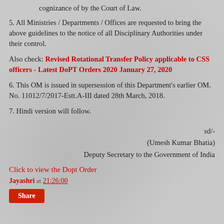cognizance of by the Court of Law.
5. All Ministries / Departments / Offices are requested to bring the above guidelines to the notice of all Disciplinary Authorities under their control.
Also check: Revised Rotational Transfer Policy applicable to CSS officers - Latest DoPT Orders 2020 January 27, 2020
6. This OM is issued in supersession of this Department's earlier OM. No. 11012/7/2017-Estt.A-III dated 28th March, 2018.
7. Hindi version will follow.
sd/-
(Umesh Kumar Bhatia)
Deputy Secretary to the Government of India
Click to view the Dopt Order
Jayashri at 21:26:00
Share